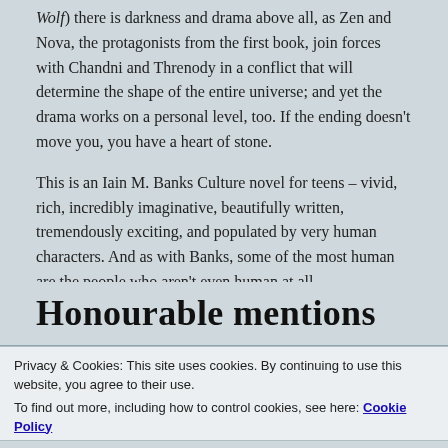Wolf) there is darkness and drama above all, as Zen and Nova, the protagonists from the first book, join forces with Chandni and Threnody in a conflict that will determine the shape of the entire universe; and yet the drama works on a personal level, too. If the ending doesn't move you, you have a heart of stone.
This is an Iain M. Banks Culture novel for teens – vivid, rich, incredibly imaginative, beautifully written, tremendously exciting, and populated by very human characters. And as with Banks, some of the most human are the people who aren't even human at all.
The next volume in the series can't come soon enough.
Honourable mentions
Privacy & Cookies: This site uses cookies. By continuing to use this website, you agree to their use.
To find out more, including how to control cookies, see here: Cookie Policy
Close and accept
objectively in my Top 10, and I want to avoid any hint of